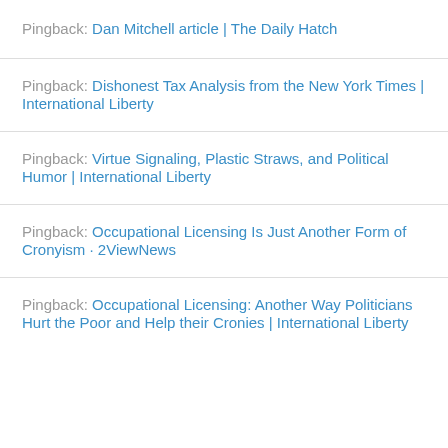Pingback: Dan Mitchell article | The Daily Hatch
Pingback: Dishonest Tax Analysis from the New York Times | International Liberty
Pingback: Virtue Signaling, Plastic Straws, and Political Humor | International Liberty
Pingback: Occupational Licensing Is Just Another Form of Cronyism · 2ViewNews
Pingback: Occupational Licensing: Another Way Politicians Hurt the Poor and Help their Cronies | International Liberty